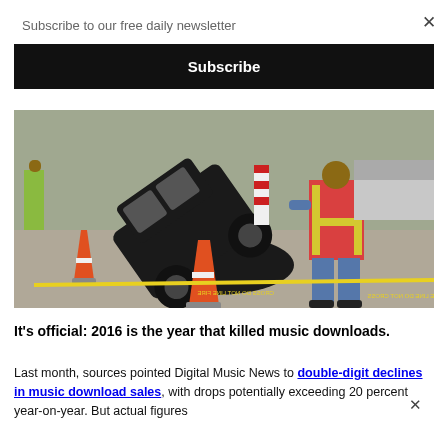Subscribe to our free daily newsletter
Subscribe
[Figure (photo): Black SUV fallen into a sinkhole on a road, with orange traffic cones and yellow police tape reading FIRE LINE DO NOT CROSS. A worker in a pink/orange high-visibility vest and jeans stands to the right observing.]
It's official: 2016 is the year that killed music downloads.
Last month, sources pointed Digital Music News to double-digit declines in music download sales, with drops potentially exceeding 20 percent year-on-year. But actual figures